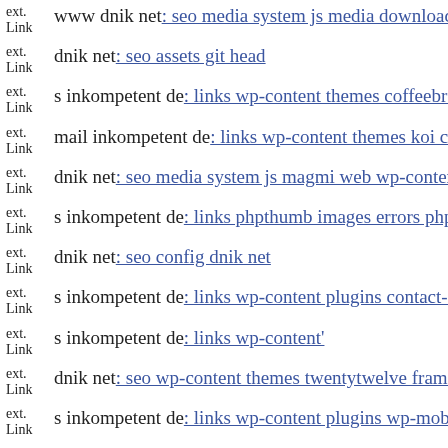ext. Link  www dnik net: seo media system js media downloader includes
ext. Link  dnik net: seo assets git head
ext. Link  s inkompetent de: links wp-content themes coffeebreak includes
ext. Link  mail inkompetent de: links wp-content themes koi components
ext. Link  dnik net: seo media system js magmi web wp-content plugins s
ext. Link  s inkompetent de: links phpthumb images errors php
ext. Link  dnik net: seo config dnik net
ext. Link  s inkompetent de: links wp-content plugins contact-form-7 read
ext. Link  s inkompetent de: links wp-content'
ext. Link  dnik net: seo wp-content themes twentytwelve framework dnik
ext. Link  s inkompetent de: links wp-content plugins wp-mobile-detector